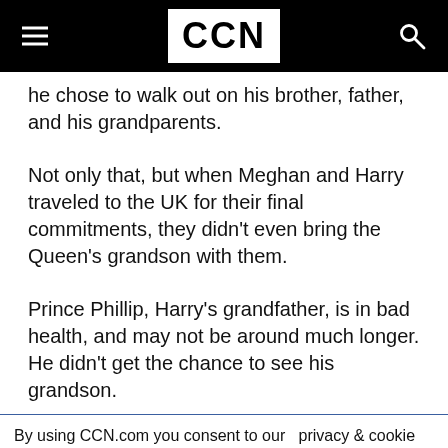CCN
he chose to walk out on his brother, father, and his grandparents.
Not only that, but when Meghan and Harry traveled to the UK for their final commitments, they didn't even bring the Queen's grandson with them.
Prince Phillip, Harry's grandfather, is in bad health, and may not be around much longer. He didn't get the chance to see his grandson.
By using CCN.com you consent to our  privacy & cookie policy.